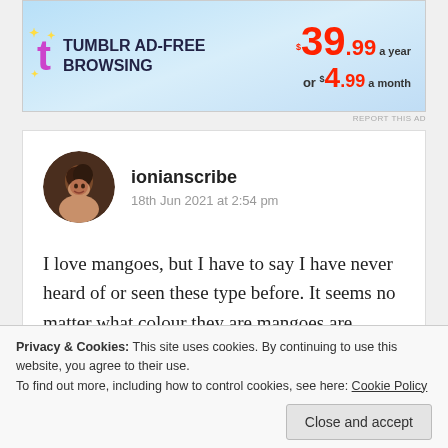[Figure (screenshot): Tumblr Ad-Free Browsing advertisement banner. Purple 't' logo with sparkles on left. Text: TUMBLR AD-FREE BROWSING. Price: $39.99 a year or $4.99 a month on right.]
REPORT THIS AD
ionianscribe
18th Jun 2021 at 2:54 pm
I love mangoes, but I have to say I have never heard of or seen these type before. It seems no matter what colour they are mangoes are expensive everywhere😭 unless we start growing them in our
Privacy & Cookies: This site uses cookies. By continuing to use this website, you agree to their use.
To find out more, including how to control cookies, see here: Cookie Policy
Close and accept